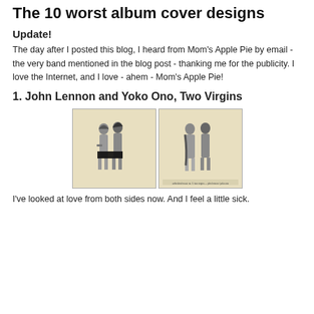The 10 worst album cover designs
Update!
The day after I posted this blog, I heard from Mom's Apple Pie by email - the very band mentioned in the blog post - thanking me for the publicity. I love the Internet, and I love - ahem - Mom's Apple Pie!
1. John Lennon and Yoko Ono, Two Virgins
[Figure (photo): Two black-and-white album cover images of John Lennon and Yoko Ono from Two Virgins. Left image shows front cover with censorship bar. Right image shows back cover.]
I've looked at love from both sides now. And I feel a little sick.